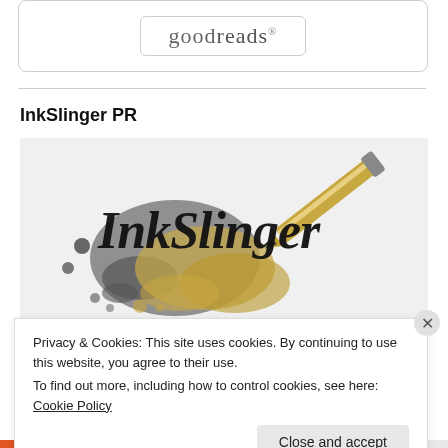[Figure (logo): Goodreads logo inside a rounded rectangle border]
InkSlinger PR
[Figure (logo): InkSlinger PR logo on light grey background: decorative script 'InkSlinger' text with ink splash graphic and a fountain pen, ornate 'PR' letters in corner]
Privacy & Cookies: This site uses cookies. By continuing to use this website, you agree to their use.
To find out more, including how to control cookies, see here: Cookie Policy
Close and accept